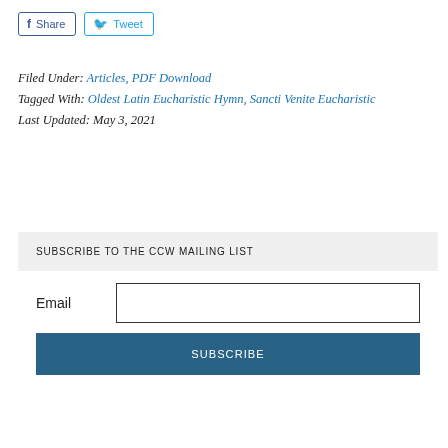Share  Tweet
Filed Under: Articles, PDF Download
Tagged With: Oldest Latin Eucharistic Hymn, Sancti Venite Eucharistic
Last Updated: May 3, 2021
SUBSCRIBE TO THE CCW MAILING LIST
Email
SUBSCRIBE